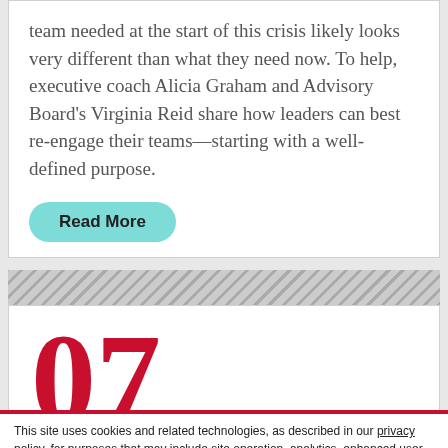team needed at the start of this crisis likely looks very different than what they need now. To help, executive coach Alicia Graham and Advisory Board's Virginia Reid share how leaders can best re-engage their teams—starting with a well-defined purpose.
Read More
07
This site uses cookies and related technologies, as described in our privacy policy, for purposes that may include site operation, analytics, enhanced user experience, or advertising. You may choose to consent to our use of these technologies, or manage your own preferences.
Manage Preferences
Accept All